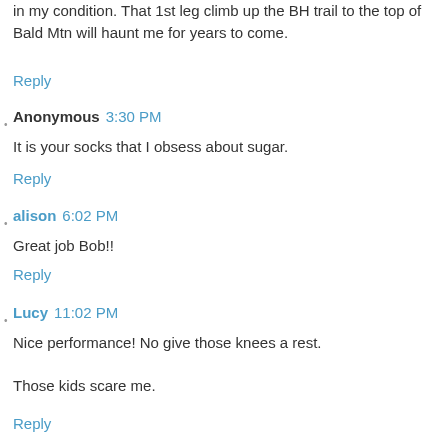in my condition. That 1st leg climb up the BH trail to the top of Bald Mtn will haunt me for years to come.
Reply
Anonymous  3:30 PM
It is your socks that I obsess about sugar.
Reply
alison  6:02 PM
Great job Bob!!
Reply
Lucy  11:02 PM
Nice performance! No give those knees a rest.
Those kids scare me.
Reply